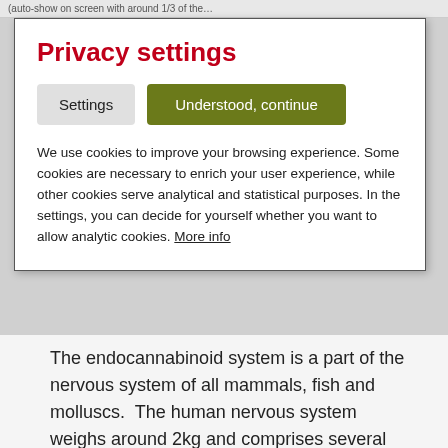(auto-show on screen with around 1/3 of the…
Privacy settings
Settings   Understood, continue
We use cookies to improve your browsing experience. Some cookies are necessary to enrich your user experience, while other cookies serve analytical and statistical purposes. In the settings, you can decide for yourself whether you want to allow analytic cookies. More info
The endocannabinoid system is a part of the nervous system of all mammals, fish and molluscs.  The human nervous system weighs around 2kg and comprises several hundreds of billions of nerve cells which form the central drive for all bodily functions. The nervous system receives impulses and information using so-called